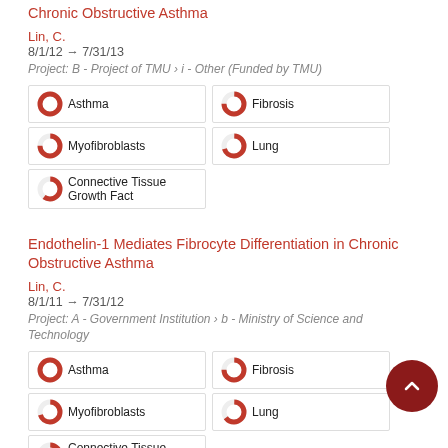Chronic Obstructive Asthma
Lin, C.
8/1/12 → 7/31/13
Project: B - Project of TMU › i - Other (Funded by TMU)
[Figure (other): Keyword badges: Asthma (100%), Fibrosis (75%), Myofibroblasts (75%), Lung (70%), Connective Tissue Growth Fact (60%)]
Endothelin-1 Mediates Fibrocyte Differentiation in Chronic Obstructive Asthma
Lin, C.
8/1/11 → 7/31/12
Project: A - Government Institution › b - Ministry of Science and Technology
[Figure (other): Keyword badges: Asthma (100%), Fibrosis (75%), Myofibroblasts (70%), Lung (65%), Connective Tissue Growth Fact (partial)]